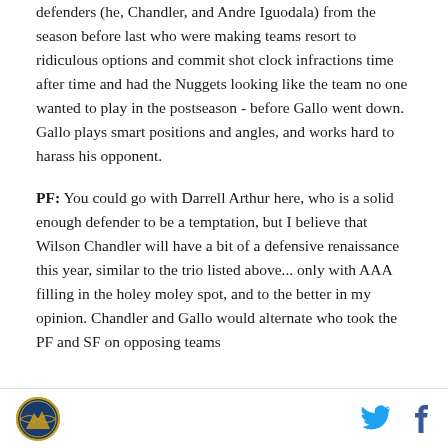defenders (he, Chandler, and Andre Iguodala) from the season before last who were making teams resort to ridiculous options and commit shot clock infractions time after time and had the Nuggets looking like the team no one wanted to play in the postseason - before Gallo went down. Gallo plays smart positions and angles, and works hard to harass his opponent.
PF: You could go with Darrell Arthur here, who is a solid enough defender to be a temptation, but I believe that Wilson Chandler will have a bit of a defensive renaissance this year, similar to the trio listed above... only with AAA filling in the holey moley spot, and to the better in my opinion. Chandler and Gallo would alternate who took the PF and SF on opposing teams
Site logo, Twitter icon, Facebook icon